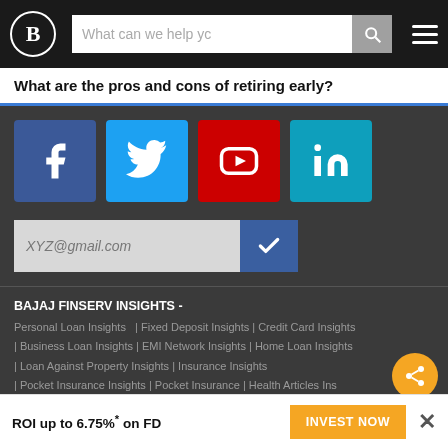[Figure (screenshot): Navigation bar with Bajaj Finserv logo (B in circle), search bar with placeholder 'What can we help you', and hamburger menu icon]
What are the pros and cons of retiring early?
[Figure (infographic): Social media icons: Facebook (blue), Twitter (light blue), YouTube (red), LinkedIn (teal)]
XYZ@gmail.com
BAJAJ FINSERV INSIGHTS -
Personal Loan Insights  | Fixed Deposit Insights | Credit Card Insights | Business Loan Insights | EMI Network Insights | Home Loan Insights | Loan Against Property Insights | Insurance Insights | Pocket Insurance Insights | Pocket Insurance | Health Articles Ins
CALCULATORS -
Personal Loan EMI   | Personal Loan Eligibility | Home Loan EMI Calculator
ROI up to 6.75%* on FD
INVEST NOW